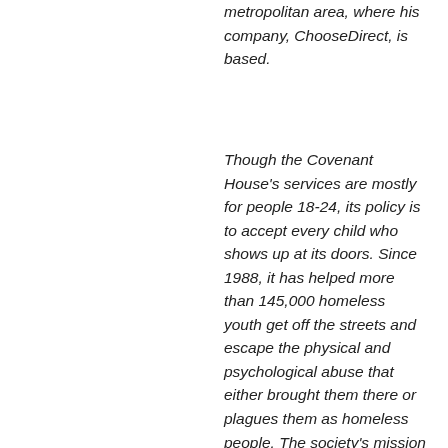metropolitan area, where his company, ChooseDirect, is based.
Though the Covenant House's services are mostly for people 18-24, its policy is to accept every child who shows up at its doors. Since 1988, it has helped more than 145,000 homeless youth get off the streets and escape the physical and psychological abuse that either brought them there or plagues them as homeless people. The society's mission is to “protect and safeguard all children of the street” with “absolute respect and unconditional love.” It offers street outreach and residential and supportive services. In addition, the organization has a hot line for teens in trouble, 1-800-999-9999 and a website, Nineline.org. The Covenant House California helps runaways and homeless